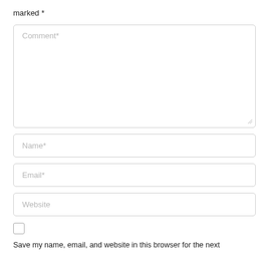marked *
[Figure (screenshot): A web comment form with placeholder fields: Comment*, Name*, Email*, Website, and a checkbox with label 'Save my name, email, and website in this browser for the next']
Save my name, email, and website in this browser for the next